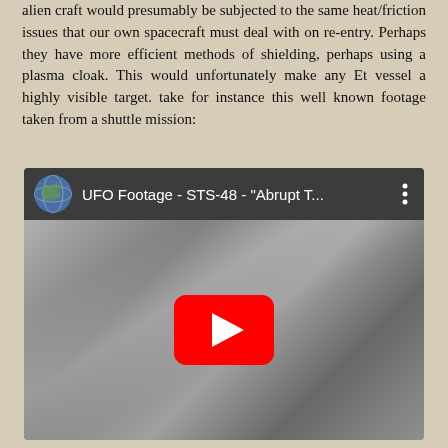alien craft would presumably be subjected to the same heat/friction issues that our own spacecraft must deal with on re-entry. Perhaps they have more efficient methods of shielding, perhaps using a plasma cloak. This would unfortunately make any Et vessel a highly visible target. take for instance this well known footage taken from a shuttle mission:
[Figure (screenshot): YouTube video thumbnail showing UFO Footage - STS-48 - 'Abrupt T...' with a grayscale space/atmosphere image and a red YouTube play button in the center. A small Earth globe icon appears in the top-left of the video player bar.]